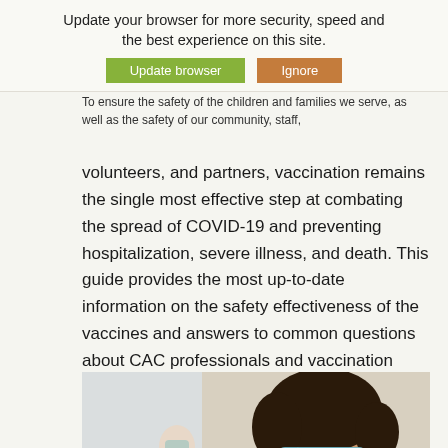Update October 12, 2021
To ensure the safety of the children and families we serve, as well as the safety of our community, staff, volunteers, and partners, vaccination remains the single most effective step at combating the spread of COVID-19 and preventing hospitalization, severe illness, and death. This guide provides the most up-to-date information on the safety effectiveness of the vaccines and answers to common questions about CAC professionals and vaccination against COVID-19.
[Figure (photo): A woman with curly hair wearing a blue surgical mask receiving a vaccination injection in her upper arm from a gloved healthcare worker. Another masked person visible in the background.]